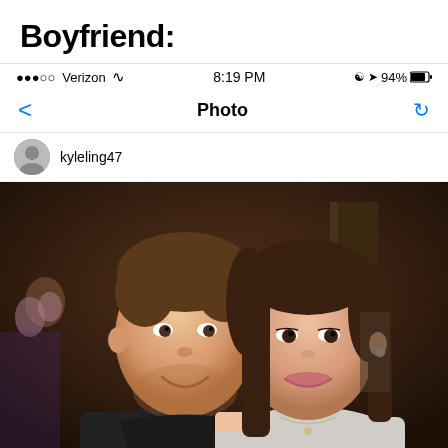Boyfriend:
•••oo Verizon  8:19 PM  @ 1 94%
< Photo (refresh)
kyleling47
[Figure (photo): A smiling couple posing together indoors. A young man with short brown hair wearing a dark shirt on the left, and a young woman with long brown hair wearing a light off-shoulder top on the right. Background shows a dimly lit venue.]